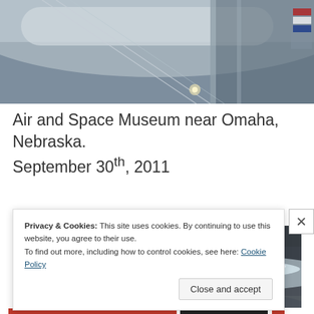[Figure (photo): Partial view of an aircraft exhibit at Air and Space Museum, interior ceiling and structural details visible, with a flag in the background.]
Air and Space Museum near Omaha, Nebraska. September 30th, 2011
[Figure (photo): Dramatic sky photograph with dark storm clouds and bright light breaking through, taken outdoors.]
Privacy & Cookies: This site uses cookies. By continuing to use this website, you agree to their use.
To find out more, including how to control cookies, see here: Cookie Policy
Close and accept